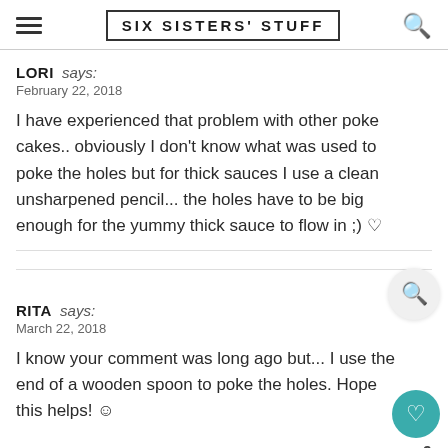SIX SISTERS' STUFF
LORI says:
February 22, 2018

I have experienced that problem with other poke cakes.. obviously I don't know what was used to poke the holes but for thick sauces I use a clean unsharpened pencil... the holes have to be big enough for the yummy thick sauce to flow in ;) ♡
RITA says:
March 22, 2018

I know your comment was long ago but... I use the end of a wooden spoon to poke the holes. Hope this helps! ☺